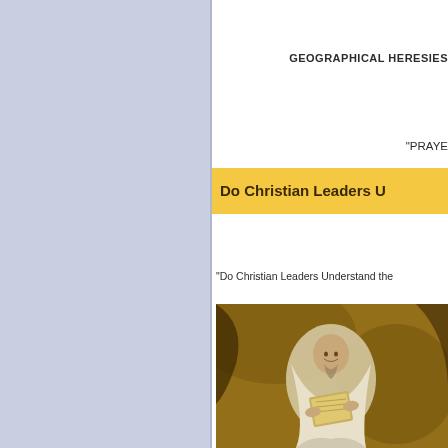[Figure (other): Left sidebar panel with light blue-grey background]
GEOGRAPHICAL HERESIES
"PRAYE
Do Christian Leaders U
"Do Christian Leaders Understand the
[Figure (photo): Painting of a bald monk or scholar in white robes reading or writing, set against a dark rocky background with warm golden-brown tones]